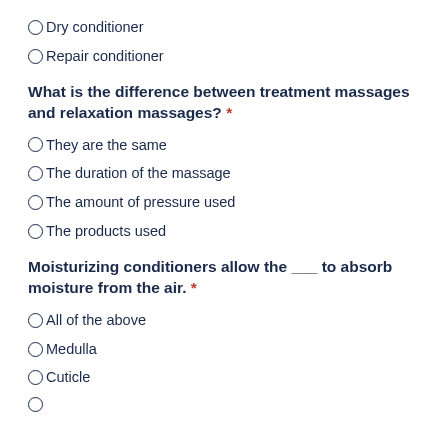Dry conditioner
Repair conditioner
What is the difference between treatment massages and relaxation massages? *
They are the same
The duration of the massage
The amount of pressure used
The products used
Moisturizing conditioners allow the ___ to absorb moisture from the air. *
All of the above
Medulla
Cuticle